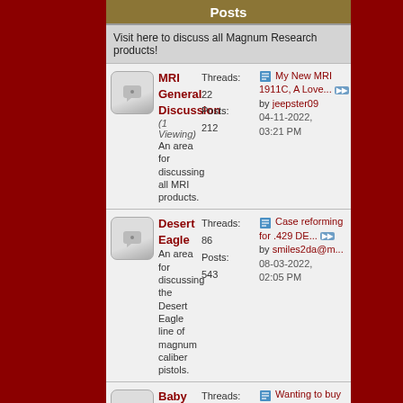Posts
Visit here to discuss all Magnum Research products!
MRI General Discussion
(1 Viewing)
An area for discussing all MRI products.
Threads: 22
Posts: 212
Last post: My New MRI 1911C, A Love... by jeepster09, 04-11-2022, 03:21 PM
Desert Eagle
An area for discussing the Desert Eagle line of magnum caliber pistols.
Threads: 86
Posts: 543
Last post: Case reforming for .429 DE... by smiles2da@m..., 08-03-2022, 02:05 PM
Baby Eagle/Jericho
(1 Viewing)
For discussion of the MRI/IMI/IWI Baby Eagle/Jericho pistols
Threads: 69
Posts: 393
Last post: Wanting to buy baby eagle 3... by LabTrek, 02-16-2022, 08:45 AM
1911 Desert Eagle
The forum for discussing the MRI imported Desert Eagle 1911
Threads: 37
Posts: 353
Last post: DE 1911G ohh yaa by Bawanna, 11-04-2021, 10:41 AM
MR Eagle Fast Action
Threads ... MR9